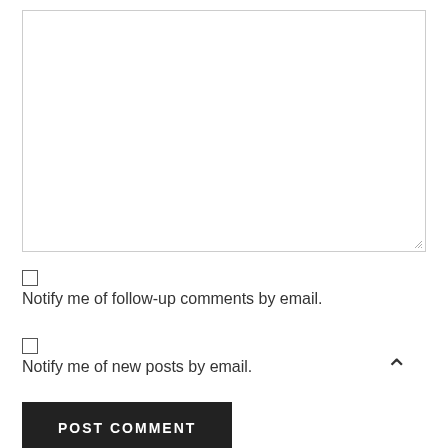[Figure (screenshot): Empty textarea input box with resize handle at bottom-right corner]
Notify me of follow-up comments by email.
Notify me of new posts by email.
POST COMMENT